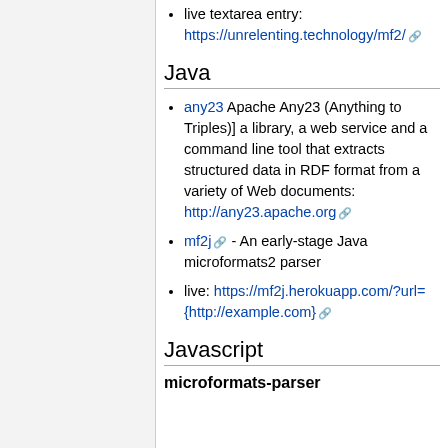live textarea entry: https://unrelenting.technology/mf2/
Java
any23 Apache Any23 (Anything to Triples)] a library, a web service and a command line tool that extracts structured data in RDF format from a variety of Web documents: http://any23.apache.org
mf2j - An early-stage Java microformats2 parser
live: https://mf2j.herokuapp.com/?url={http://example.com}
Javascript
microformats-parser